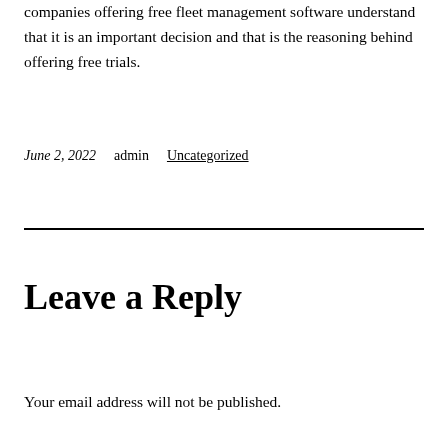companies offering free fleet management software understand that it is an important decision and that is the reasoning behind offering free trials.
June 2, 2022   admin   Uncategorized
Leave a Reply
Your email address will not be published.